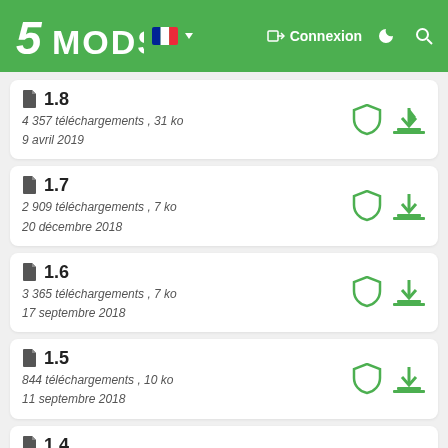5MODS  Connexion
1.8
4 357 téléchargements , 31 ko
9 avril 2019
1.7
2 909 téléchargements , 7 ko
20 décembre 2018
1.6
3 365 téléchargements , 7 ko
17 septembre 2018
1.5
844 téléchargements , 10 ko
11 septembre 2018
1.4
3 821 téléchargements , 100 ko
21 juillet 2018